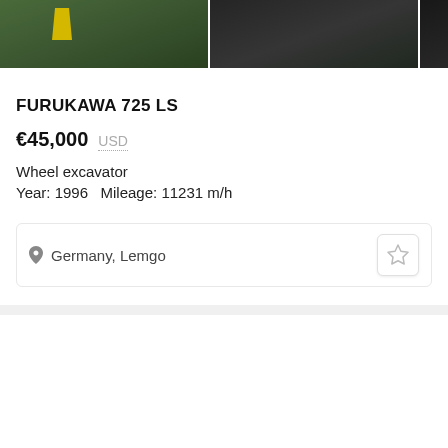[Figure (photo): Three images of a Furukawa 725 LS wheel excavator shown side by side: left image shows the machine outdoors with a person in a yellow vest, center shows detail of the equipment, right is partially visible.]
FURUKAWA 725 LS
€45,000   USD
Wheel excavator
Year: 1996   Mileage: 11231 m/h
Germany, Lemgo